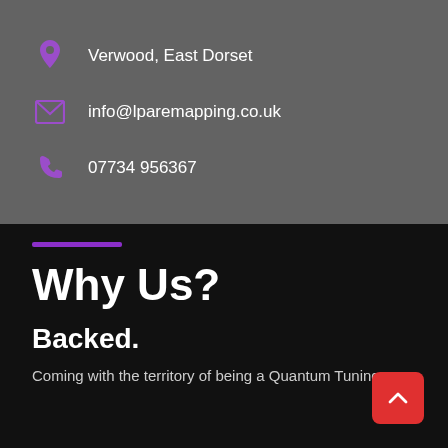Verwood, East Dorset
info@lparemapping.co.uk
07734 956367
Why Us?
Backed.
Coming with the territory of being a Quantum Tuning